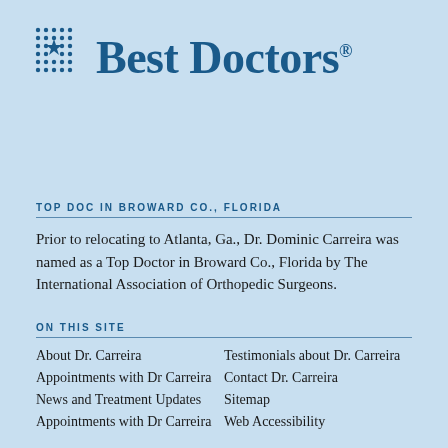[Figure (logo): Best Doctors logo with dot-grid star icon on the left and 'Best Doctors' text with registered trademark symbol]
TOP DOC IN BROWARD CO., FLORIDA
Prior to relocating to Atlanta, Ga., Dr. Dominic Carreira was named as a Top Doctor in Broward Co., Florida by The International Association of Orthopedic Surgeons.
ON THIS SITE
About Dr. Carreira
Testimonials about Dr. Carreira
Appointments with Dr Carreira
Contact Dr. Carreira
News and Treatment Updates
Sitemap
Appointments with Dr Carreira
Web Accessibility